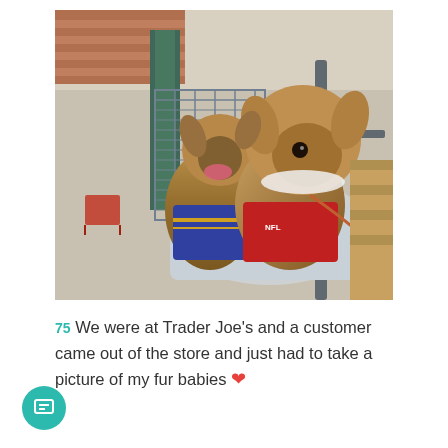[Figure (photo): Two small Yorkshire Terrier dogs dressed in sports jerseys (one blue, one red) sitting in a pet stroller outside what appears to be a Trader Joe's store. Background shows brick building, metal fence, and shopping carts.]
We were at Trader Joe's and a customer came out of the store and just had to take a picture of my fur babies ❤